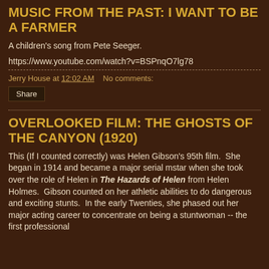MUSIC FROM THE PAST: I WANT TO BE A FARMER
A children's song from Pete Seeger.
https://www.youtube.com/watch?v=BSPnqO7lg78
Jerry House at 12:02 AM   No comments:
Share
OVERLOOKED FILM: THE GHOSTS OF THE CANYON (1920)
This (If I counted correctly) was Helen Gibson's 95th film.  She began in 1914 and became a major serial mstar when she took over the role of Helen in The Hazards of Helen from Helen Holmes.  Gibson counted on her athletic abilities to do dangerous and exciting stunts.  In the early Twenties, she phased out her major acting career to concentrate on being a stuntwoman -- the first professional